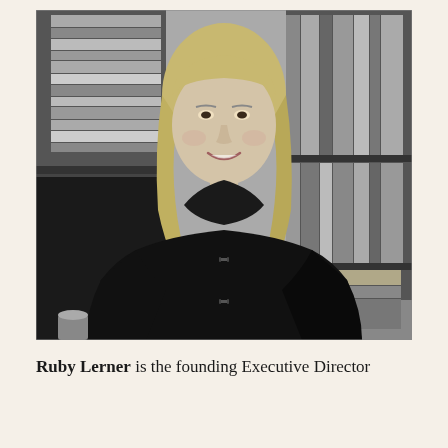[Figure (photo): Black and white photograph of a middle-aged woman with shoulder-length blonde hair, smiling, wearing a dark toggle coat, standing in front of bookshelves filled with books and documents.]
Ruby Lerner is the founding Executive Director